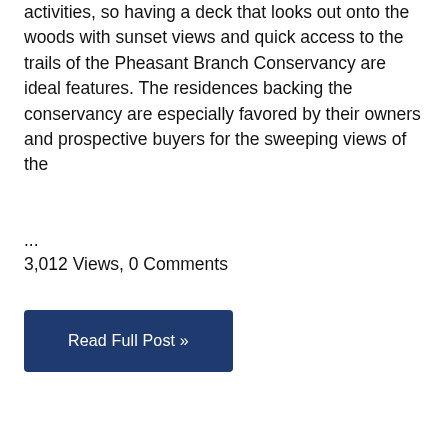activities, so having a deck that looks out onto the woods with sunset views and quick access to the trails of the Pheasant Branch Conservancy are ideal features. The residences backing the conservancy are especially favored by their owners and prospective buyers for the sweeping views of the
...
3,012 Views, 0 Comments
Read Full Post »